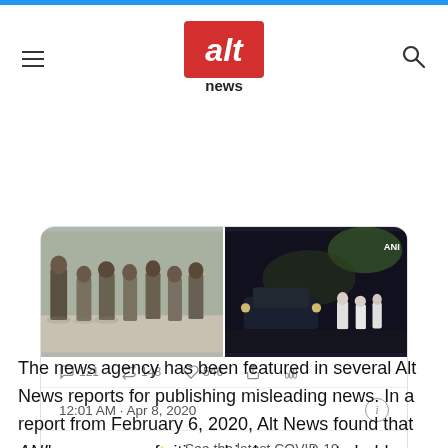Alt News
[Figure (screenshot): Embedded tweet screenshot showing two images of police/security personnel, tweet actions bar (121 replies, 148 retweets, 546 likes), timestamp 12:01 AM · Apr 8, 2020, 733 likes, COVID-19 information link, and Read 322 replies button]
The news agency has been featured in several Alt News reports for publishing misleading news. In a report from February 6, 2020, Alt News found that ANI's coverage of citizenship law protests held abroad was skewed –